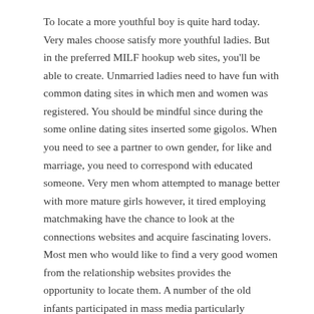To locate a more youthful boy is quite hard today. Very males choose satisfy more youthful ladies. But in the preferred MILF hookup web sites, you'll be able to create. Unmarried ladies need to have fun with common dating sites in which men and women was registered. You should be mindful since during the some online dating sites inserted some gigolos. When you need to see a partner to own gender, for like and marriage, you need to correspond with educated someone. Very men whom attempted to manage better with more mature girls however, it tired employing matchmaking have the chance to look at the connections websites and acquire fascinating lovers. Most men who would like to find a very good women from the relationship websites provides the opportunity to locate them. A number of the old infants participated in mass media particularly Playboy.